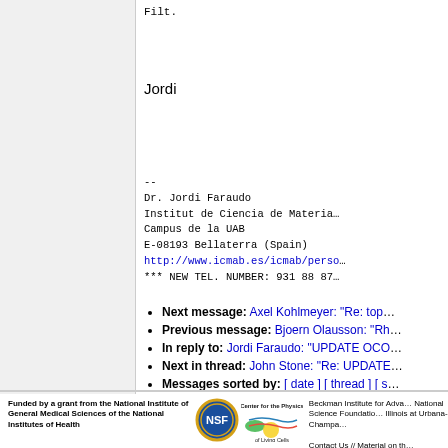Jordi
--
Dr. Jordi Faraudo
Institut de Ciencia de Materia...
Campus de la UAB
E-08193 Bellaterra (Spain)
http://www.icmab.es/icmab/perso...
*** NEW TEL. NUMBER: 931 88 87...
Next message: Axel Kohlmeyer: "Re: top..."
Previous message: Bjoern Olausson: "Rh..."
In reply to: Jordi Faraudo: "UPDATE OCO..."
Next in thread: John Stone: "Re: UPDATE..."
Messages sorted by: [ date ] [ thread ] [ s...
Funded by a grant from the National Institute of General Medical Sciences of the National Institutes of Health
Beckman Institute for Adva... National Science Foundatio... Illinois at Urbana-Champa...
Contact Us // Material on th... Document last modified on C...